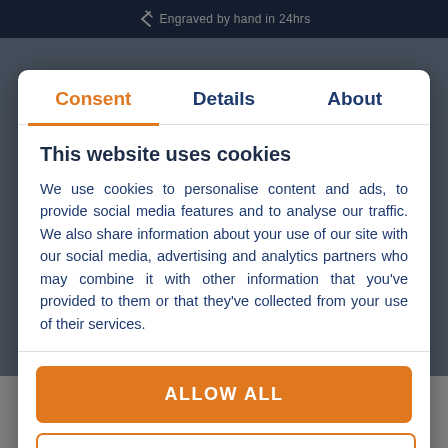Engraved by hand in 24hrs
Consent | Details | About
This website uses cookies
We use cookies to personalise content and ads, to provide social media features and to analyse our traffic. We also share information about your use of our site with our social media, advertising and analytics partners who may combine it with other information that you've provided to them or that they've collected from your use of their services.
ALLOW ALL
CUSTOMIZE
can all be hand engraved with your Keepsake message. Keep reading to find out all about our latest launch.